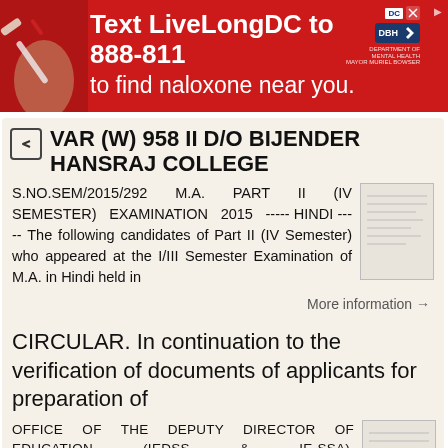[Figure (infographic): Red advertisement banner: 'Text LiveLongDC to 888-811 to find naloxone near you.' with DC and DBH logos, and a partial image of medical items on the left.]
VAR (W) 958 II D/O BIJENDER HANSRAJ COLLEGE
S.NO.SEM/2015/292 M.A. PART II (IV SEMESTER) EXAMINATION 2015 ----- HINDI ----- The following candidates of Part II (IV Semester) who appeared at the I/III Semester Examination of M.A. in Hindi held in
More information →
CIRCULAR. In continuation to the verification of documents of applicants for preparation of
OFFICE OF THE DEPUTY DIRECTOR OF EDUCATION (IEDSS & IE-SSA), (ADMINISTRATIVE CELL), DIRECTORATE OF EDUCATION, GNCT OF DELHI, AMRITA